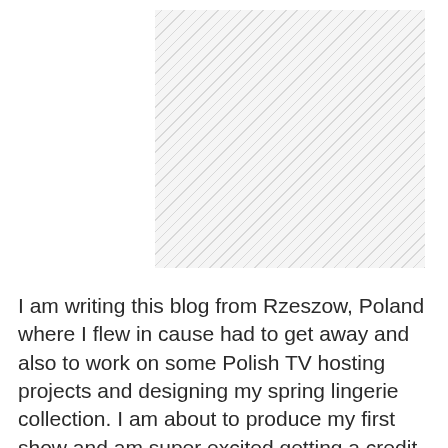[Figure (photo): Image placeholder with diagonal hatching pattern on the right portion, representing a photo that was not loaded or is partially visible]
I am writing this blog from Rzeszow, Poland where I flew in cause had to get away and also to work on some Polish TV hosting projects and designing my spring lingerie collection. I am about to produce my first show and am super excited getting a credit as a producer. When I arrived, I